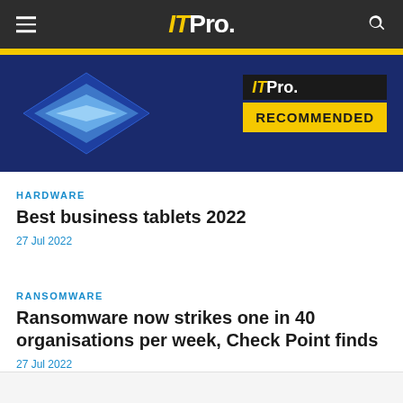ITPro.
[Figure (screenshot): ITPro Recommended badge banner with blue background, diamond shape graphic on left, ITPro logo and RECOMMENDED badge on right]
HARDWARE
Best business tablets 2022
27 Jul 2022
RANSOMWARE
Ransomware now strikes one in 40 organisations per week, Check Point finds
27 Jul 2022